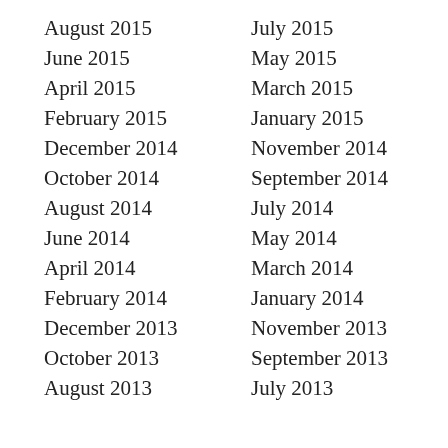August 2015
July 2015
June 2015
May 2015
April 2015
March 2015
February 2015
January 2015
December 2014
November 2014
October 2014
September 2014
August 2014
July 2014
June 2014
May 2014
April 2014
March 2014
February 2014
January 2014
December 2013
November 2013
October 2013
September 2013
August 2013
July 2013